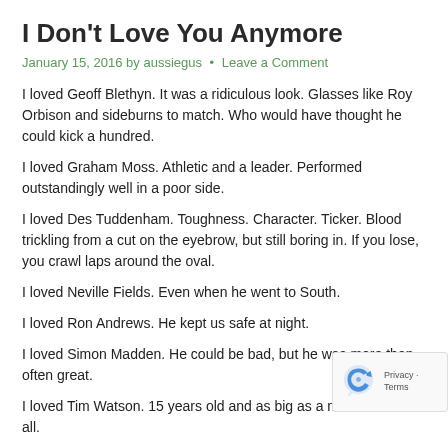I Don't Love You Anymore
January 15, 2016 by aussiegus • Leave a Comment
I loved Geoff Blethyn. It was a ridiculous look. Glasses like Roy Orbison and sideburns to match. Who would have thought he could kick a hundred.
I loved Graham Moss. Athletic and a leader. Performed outstandingly well in a poor side.
I loved Des Tuddenham. Toughness. Character. Ticker. Blood trickling from a cut on the eyebrow, but still boring in. If you lose, you crawl laps around the oval.
I loved Neville Fields. Even when he went to South.
I loved Ron Andrews. He kept us safe at night.
I loved Simon Madden. He could be bad, but he was more than often great.
I loved Tim Watson. 15 years old and as big as a man. He had it all.
I loved Terry Daniher. Son, just get the ball, kick more goals than they do and we'll have a good drink tonight.
I loved Neale Daniher. 4 goals in a minute at Carlton, now that was
I loved Billy Duckworth. A larrikin with a never-say-die attitude and cheekiness to match.